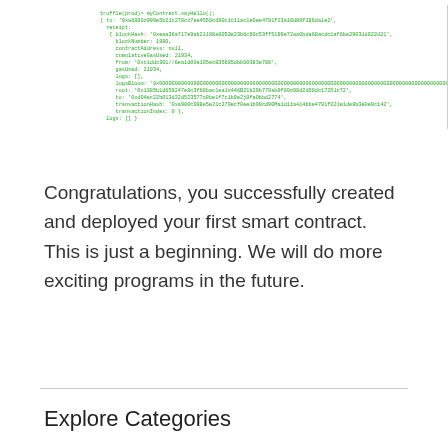[Figure (screenshot): Terminal/console output showing Truffle smart contract deployment. Green monospace text on white background showing JavaScript object with transaction receipt details including blockHash, blockNumber, contractAddress, cumulativeGasUsed, from, gasUsed, logs, logsBloom (long hex string), root, to, transactionHash, transactionIndex fields.]
Congratulations, you successfully created and deployed your first smart contract. This is just a beginning. We will do more exciting programs in the future.
Explore Categories